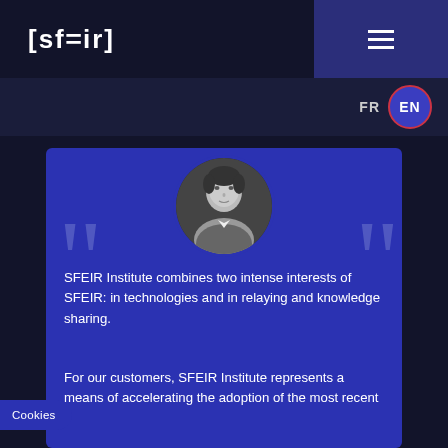[Figure (logo): SFEIR company logo in white text on dark navy background, with stylized brackets and equal sign: [sf=ir]]
[Figure (other): Hamburger menu icon (three horizontal lines) on dark blue/purple background in top right corner]
FR  EN
[Figure (photo): Black and white circular portrait photo of a man in a suit on a dark blue card with quotation mark watermarks]
SFEIR Institute combines two intense interests of SFEIR: in technologies and in relaying  and knowledge sharing.
For our customers, SFEIR Institute represents a means of accelerating the adoption of the most recent
Cookies